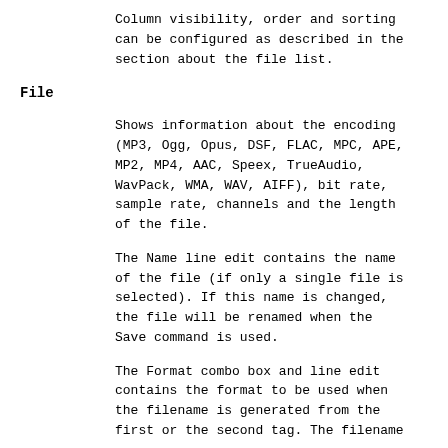Column visibility, order and sorting can be configured as described in the section about the file list.
File
Shows information about the encoding (MP3, Ogg, Opus, DSF, FLAC, MPC, APE, MP2, MP4, AAC, Speex, TrueAudio, WavPack, WMA, WAV, AIFF), bit rate, sample rate, channels and the length of the file.
The Name line edit contains the name of the file (if only a single file is selected). If this name is changed, the file will be renamed when the Save command is used.
The Format combo box and line edit contains the format to be used when the filename is generated from the first or the second tag. The filename